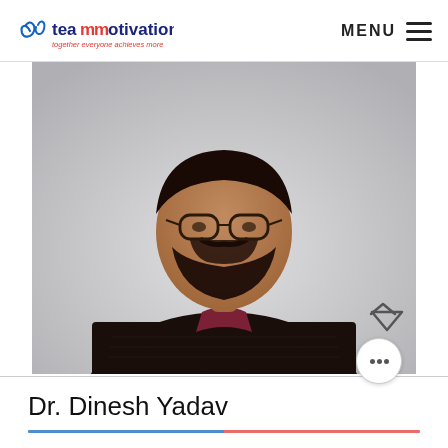team motivation — together everyone achieves more | MENU
[Figure (photo): Portrait photograph of Dr. Dinesh Yadav, a man with glasses and a beard wearing a dark sweater with arms crossed, against a light grey background.]
Dr. Dinesh Yadav